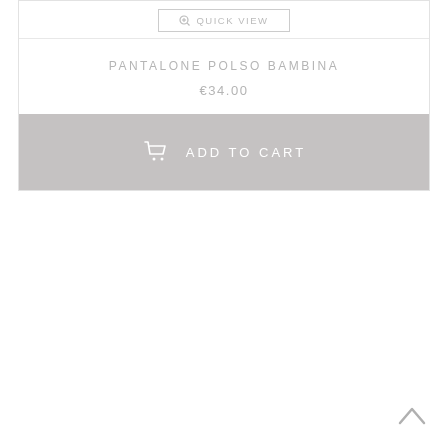[Figure (screenshot): E-commerce product card partial view showing Quick View button, product name PANTALONE POLSO BAMBINA, price €34.00, and Add to Cart button. Below is blank white space and a back-to-top chevron icon at bottom right.]
QUICK VIEW
PANTALONE POLSO BAMBINA
€34.00
ADD TO CART